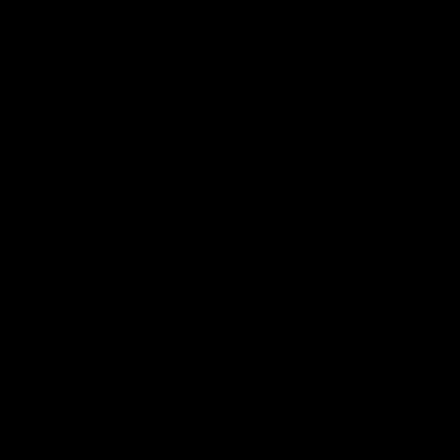us up for faili fron the sta by res the don in whi the soli ma be fou It cou be tha dec